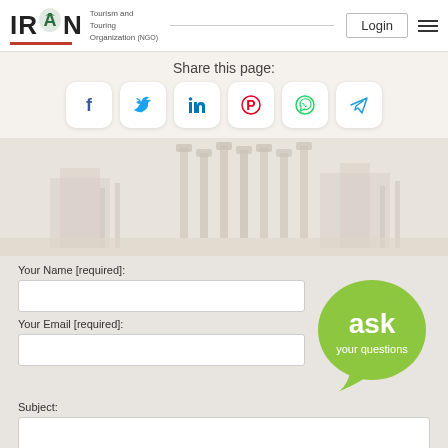IRAN Tourism and Touring Organization (NGO) | Login
Share this page:
[Figure (infographic): Social media share icons: Facebook, Twitter, LinkedIn, Pinterest, WhatsApp, Telegram]
[Figure (photo): Grayscale architectural illustration of ancient Persian columns/ruins (Persepolis)]
Your Name [required]:
[Figure (illustration): Green speech bubble with text 'ask your questions']
Your Email [required]:
Subject:
Your Message: